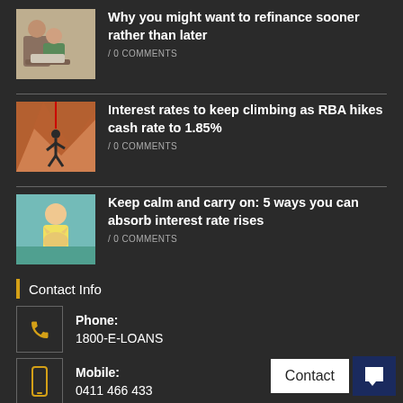Why you might want to refinance sooner rather than later / 0 COMMENTS
Interest rates to keep climbing as RBA hikes cash rate to 1.85% / 0 COMMENTS
Keep calm and carry on: 5 ways you can absorb interest rate rises / 0 COMMENTS
Contact Info
Phone: 1800-E-LOANS
Mobile: 0411 466 433